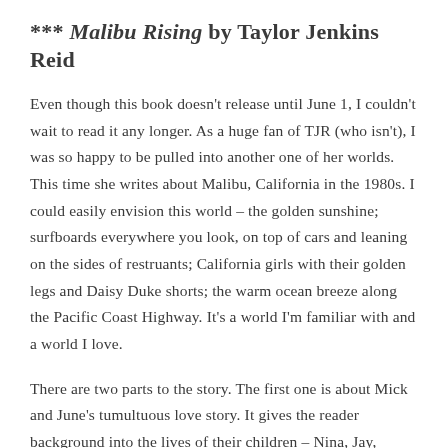*** Malibu Rising by Taylor Jenkins Reid
Even though this book doesn't release until June 1, I couldn't wait to read it any longer. As a huge fan of TJR (who isn't), I was so happy to be pulled into another one of her worlds. This time she writes about Malibu, California in the 1980s. I could easily envision this world – the golden sunshine; surfboards everywhere you look, on top of cars and leaning on the sides of restruants; California girls with their golden legs and Daisy Duke shorts; the warm ocean breeze along the Pacific Coast Highway. It's a world I'm familiar with and a world I love.
There are two parts to the story. The first one is about Mick and June's tumultuous love story. It gives the reader background into the lives of their children – Nina, Jay, HUD, and Kit. This was by far my favorite part of the story